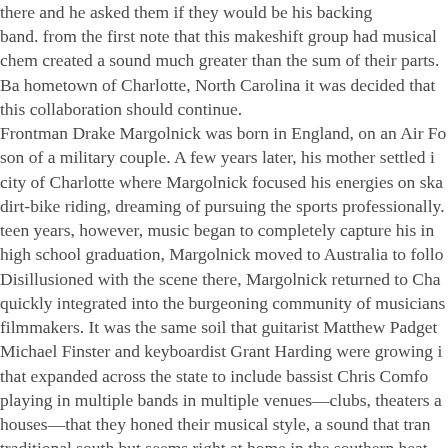there and he asked them if they would be his backing band. from the first note that this makeshift group had musical chem created a sound much greater than the sum of their parts. Ba hometown of Charlotte, North Carolina it was decided that this collaboration should continue. Frontman Drake Margolnick was born in England, on an Air Fo son of a military couple. A few years later, his mother settled i city of Charlotte where Margolnick focused his energies on ska dirt-bike riding, dreaming of pursuing the sports professionally. teen years, however, music began to completely capture his in high school graduation, Margolnick moved to Australia to follo Disillusioned with the scene there, Margolnick returned to Cha quickly integrated into the burgeoning community of musicians filmmakers. It was the same soil that guitarist Matthew Padget Michael Finster and keyboardist Grant Harding were growing i that expanded across the state to include bassist Chris Comfo playing in multiple bands in multiple venues—clubs, theaters a houses—that they honed their musical style, a sound that tran traditional south but seems right at home in the southern heat After forming Flagship, Padget, Harding and Finster immediat